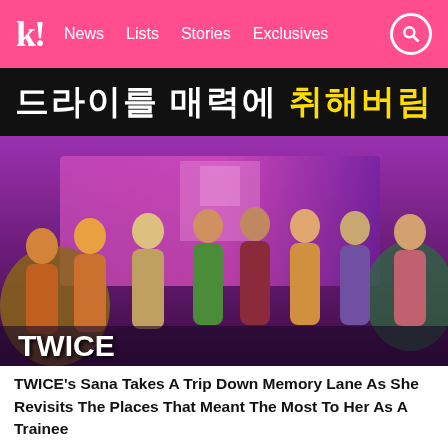K! News Lists Stories Exclusives
[Figure (photo): Korean text banner on black background with yellow highlighted characters reading roughly: 드라이를 매력에 취해버림]
[Figure (photo): Group photo of TWICE K-pop girl group members posing in colorful outfits on a vibrant purple/pink stage set. White text overlay reads 'TWICE' in bold.]
TWICE's Sana Takes A Trip Down Memory Lane As She Revisits The Places That Meant The Most To Her As A Trainee